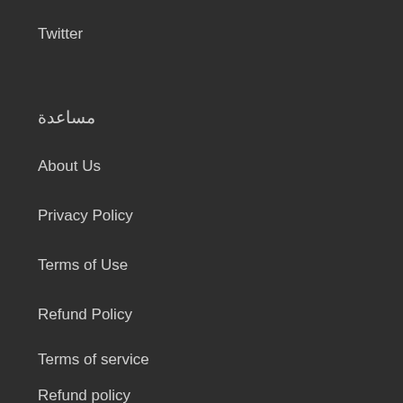Twitter
مساعدة
About Us
Privacy Policy
Terms of Use
Refund Policy
Terms of service
Refund policy